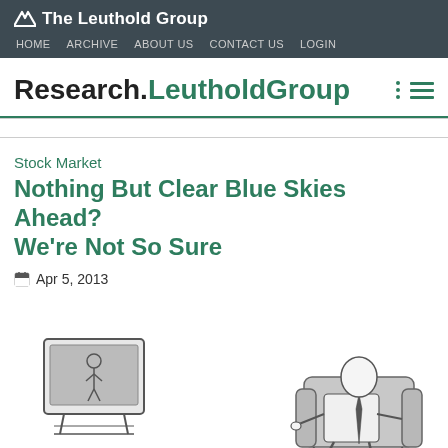The Leuthold Group — HOME  ARCHIVE  ABOUT US  CONTACT US  LOGIN
Research.LeutholdGroup
Stock Market
Nothing But Clear Blue Skies Ahead? We're Not So Sure
Apr 5, 2013
[Figure (illustration): Black and white cartoon illustration of a man sitting in an armchair watching a television set, looking up pensively with hand to chin. Signed by the cartoonist.]